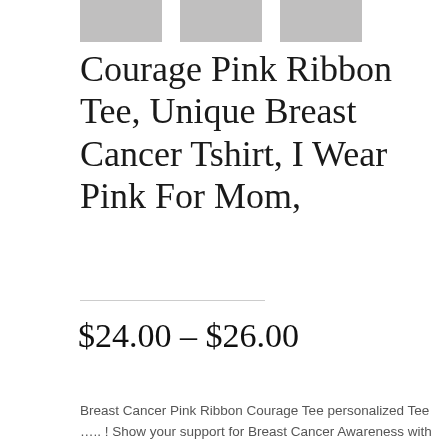[Figure (photo): Three small thumbnail images of the t-shirt product, partially visible at the top of the page]
Courage Pink Ribbon Tee, Unique Breast Cancer Tshirt, I Wear Pink For Mom,
$24.00 – $26.00
Breast Cancer Pink Ribbon Courage Tee personalized Tee ….. ! Show your support for Breast Cancer Awareness with this irresistible pink ribbon tee from NON VERBAL EXPRESSION. has a lovable quote pledging support to anyone suffering from the disease. Available in black or white, it is soft to the touch and is a comfortable styling option that also carries a message of Pink Awareness and hope. This breast cancer tee makes a touching gift idea to give to someone who is battling cancer. It's a Nonverbal lifestyle. The courage tee speaks for you and express's